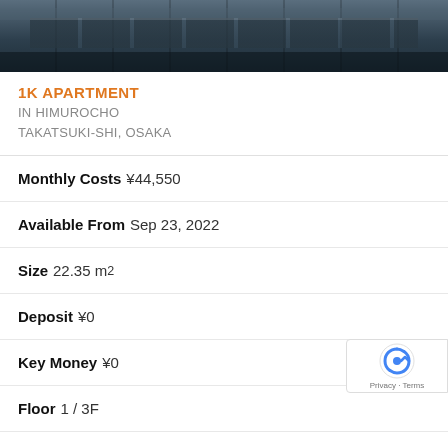[Figure (photo): Exterior photo of a building, dark tones, showing windows and facade at top of page]
1K APARTMENT
IN HIMUROCHO
TAKATSUKI-SHI, OSAKA
Monthly Costs ¥44,550
Available From Sep 23, 2022
Size 22.35 m²
Deposit ¥0
Key Money ¥0
Floor 1 / 3F
Year Built 2010